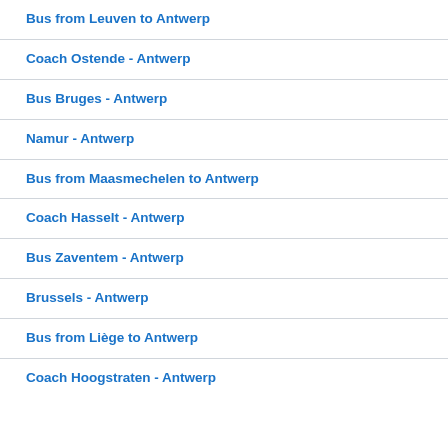Bus from Leuven to Antwerp
Coach Ostende - Antwerp
Bus Bruges - Antwerp
Namur - Antwerp
Bus from Maasmechelen to Antwerp
Coach Hasselt - Antwerp
Bus Zaventem - Antwerp
Brussels - Antwerp
Bus from Liège to Antwerp
Coach Hoogstraten - Antwerp